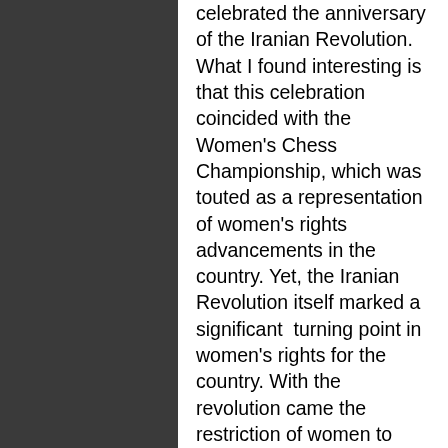celebrated the anniversary of the Iranian Revolution. What I found interesting is that this celebration coincided with the Women's Chess Championship, which was touted as a representation of women's rights advancements in the country. Yet, the Iranian Revolution itself marked a significant  turning point in women's rights for the country. With the revolution came the restriction of women to their homes without male escort and loss of many other basic rights to the discretion of the country's theocratic leadership.
When Nazi Paikidze announced her intention to boycott the event, she faced the typical media backlash that claimed her protest would damage the plight of women's